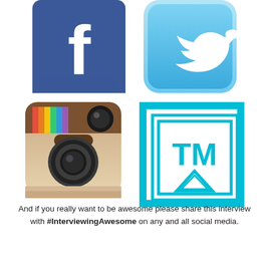[Figure (logo): Facebook logo - blue square with white lowercase f]
[Figure (logo): Twitter logo - light blue rounded square with white bird icon]
[Figure (logo): Instagram logo - old style camera icon with brown/tan body and rainbow stripe]
[Figure (logo): TM logo - cyan/light blue square icon with TM letters and triangle]
And if you really want to be awesome please share this interview with #InterviewingAwesome on any and all social media.